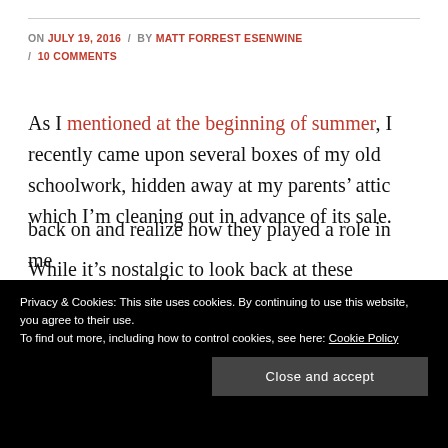ON JULY 19, 2016 / BY MATT FORREST ESENWINE / 10 COMMENTS
As I mentioned at the beginning of summer, I recently came upon several boxes of my old schoolwork, hidden away at my parents’ attic which I’m cleaning out in advance of its sale.
While it’s nostalgic to look back at these journals, projects, and tests—and a bit disheartening, knowing
back on and realize how they played a role in me
Privacy & Cookies: This site uses cookies. By continuing to use this website, you agree to their use. To find out more, including how to control cookies, see here: Cookie Policy
Close and accept